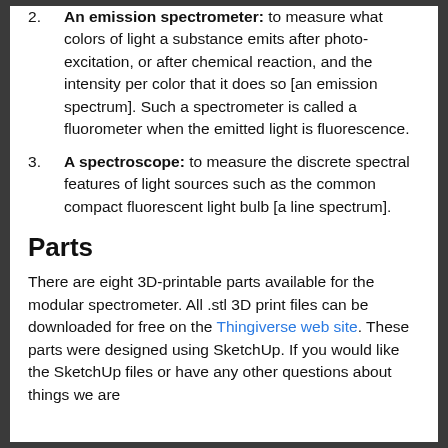An emission spectrometer: to measure what colors of light a substance emits after photo-excitation, or after chemical reaction, and the intensity per color that it does so [an emission spectrum]. Such a spectrometer is called a fluorometer when the emitted light is fluorescence.
A spectroscope: to measure the discrete spectral features of light sources such as the common compact fluorescent light bulb [a line spectrum].
Parts
There are eight 3D-printable parts available for the modular spectrometer. All .stl 3D print files can be downloaded for free on the Thingiverse web site. These parts were designed using SketchUp. If you would like the SketchUp files or have any other questions about things we are